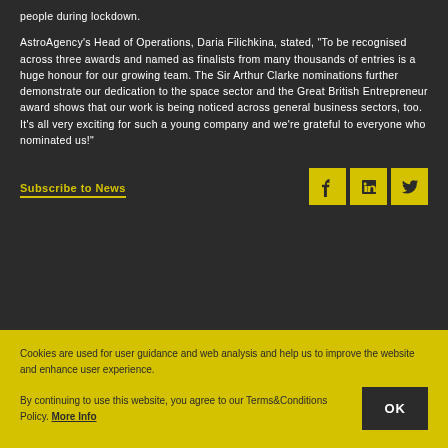people during lockdown.
AstroAgency's Head of Operations, Daria Filichkina, stated, "To be recognised across three awards and named as finalists from many thousands of entries is a huge honour for our growing team. The Sir Arthur Clarke nominations further demonstrate our dedication to the space sector and the Great British Entrepreneur award shows that our work is being noticed across general business sectors, too. It’s all very exciting for such a young company and we’re grateful to everyone who nominated us!"
Subscribe to News
[Figure (logo): Facebook icon (yellow background with dark F)]
[Figure (logo): LinkedIn icon (yellow background with dark 'in')]
[Figure (logo): Twitter icon (yellow background with dark bird)]
Cookies are used for user guidance and web analysis and help us to improve the website and enhance user experience.
By continuing to use this website, you agree to our Terms&Conditions Policy. More Info